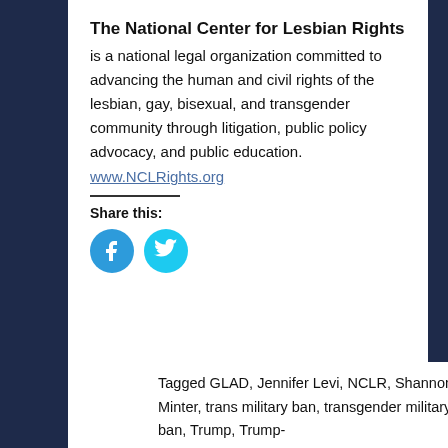The National Center for Lesbian Rights
is a national legal organization committed to advancing the human and civil rights of the lesbian, gay, bisexual, and transgender community through litigation, public policy advocacy, and public education.
www.NCLRights.org
Share this:
[Figure (other): Facebook and Twitter share buttons as circular blue icons]
Tagged GLAD, Jennifer Levi, NCLR, Shannon Minter, trans military ban, transgender military ban, Trump, Trump-...